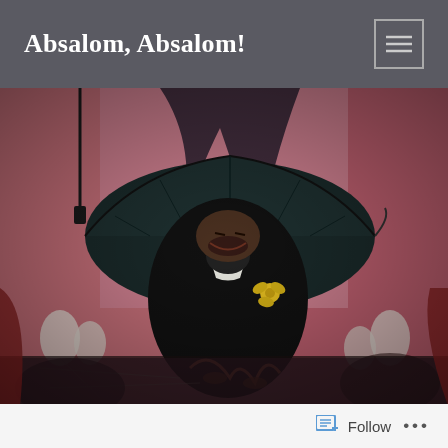Absalom, Absalom!
[Figure (illustration): A dark expressionist painting featuring a distorted figure seated under a large black umbrella in a pink/red room. The figure has a warped, screaming or grimacing face, wears a dark suit with a yellow flower, and is surrounded by skeletal or animal-like forms at the edges. The style is reminiscent of Francis Bacon's figurative works.]
Follow ...